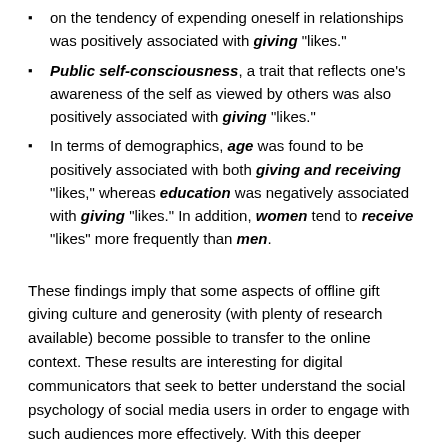on the tendency of expending oneself in relationships was positively associated with giving "likes."
Public self-consciousness, a trait that reflects one's awareness of the self as viewed by others was also positively associated with giving "likes."
In terms of demographics, age was found to be positively associated with both giving and receiving "likes," whereas education was negatively associated with giving "likes." In addition, women tend to receive "likes" more frequently than men.
These findings imply that some aspects of offline gift giving culture and generosity (with plenty of research available) become possible to transfer to the online context. These results are interesting for digital communicators that seek to better understand the social psychology of social media users in order to engage with such audiences more effectively. With this deeper understanding of the target group it becomes